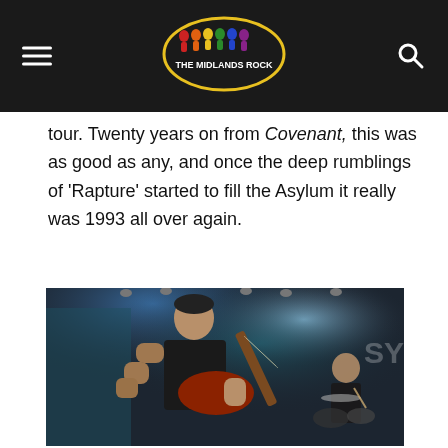THE MIDLANDS ROCK (logo/header bar)
tour. Twenty years on from Covenant, this was as good as any, and once the deep rumblings of ‘Rapture’ started to fill the Asylum it really was 1993 all over again.
[Figure (photo): Bassist playing a red electric guitar on stage with dramatic blue stage lighting; drummer visible in background right]